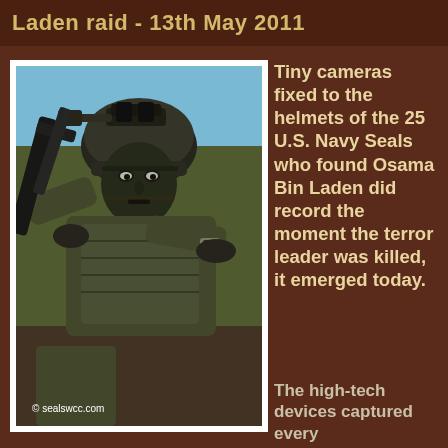Laden raid - 13th May 2011
[Figure (photo): A U.S. Navy SEAL soldier in full combat gear, wearing a tactical helmet with night-vision equipment, face paint, carrying a weapon. Photo credit: © sealswcc.com]
Tiny cameras fixed to the helmets of the 25 U.S. Navy Seals who found Osama Bin Laden did record the moment the terror leader was killed, it emerged today.
The high-tech devices captured every